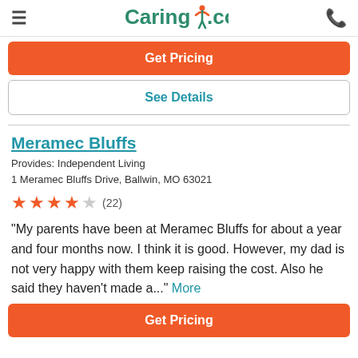Caring.com
Get Pricing
See Details
Meramec Bluffs
Provides: Independent Living
1 Meramec Bluffs Drive, Ballwin, MO 63021
★★★★☆ (22)
"My parents have been at Meramec Bluffs for about a year and four months now. I think it is good. However, my dad is not very happy with them keep raising the cost. Also he said they haven't made a..." More
Get Pricing